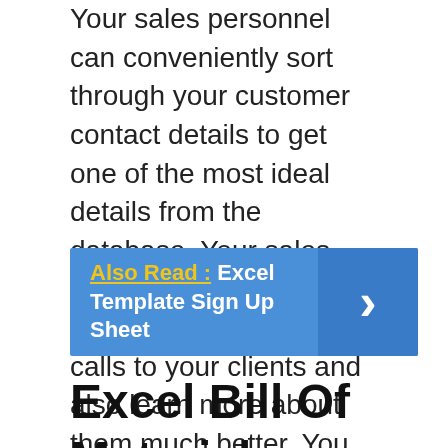Your sales personnel can conveniently sort through your customer contact details to get one of the most ideal details from the database. Your sales group will certainly have the ability to make more calls to your clients and also learn more about them much better. You can make use of a customized excel bill of material template as an reliable CRM tool for your firm if you desire to conserve more time and cash.
Also Read :  Excel Template Sign Up Sheet
Excel Bill Of Material Template | Bill Of Materials Template MS